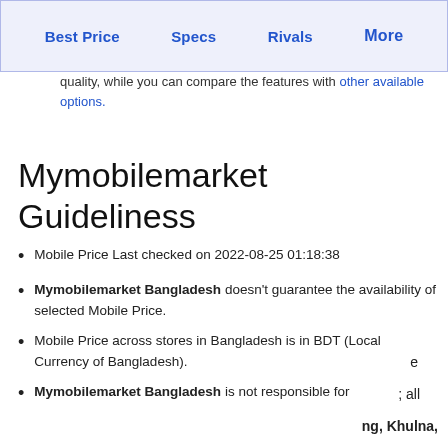Best Price | Specs | Rivals | More
quality, while you can compare the features with other available options.
Mymobilemarket Guideliness
Mobile Price Last checked on 2022-08-25 01:18:38
Mymobilemarket Bangladesh doesn't guarantee the availability of selected Mobile Price.
Mobile Price across stores in Bangladesh is in BDT (Local Currency of Bangladesh).
Mymobilemarket Bangladesh is not responsible for
e
; all
ng, Khulna,